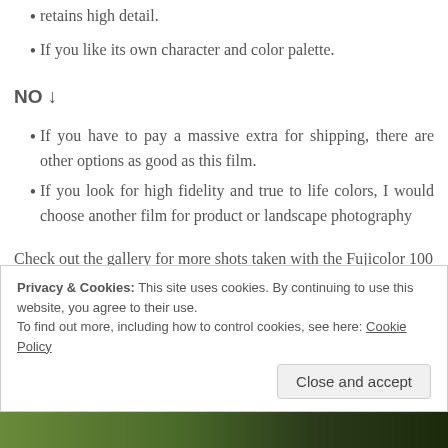retains high detail.
If you like its own character and color palette.
NO ↓
If you have to pay a massive extra for shipping, there are other options as good as this film.
If you look for high fidelity and true to life colors, I would choose another film for product or landscape photography
Check out the gallery for more shots taken with the Fujicolor 100
Privacy & Cookies: This site uses cookies. By continuing to use this website, you agree to their use.
To find out more, including how to control cookies, see here: Cookie Policy
[Figure (photo): Photo strip at bottom of page showing colorful image]